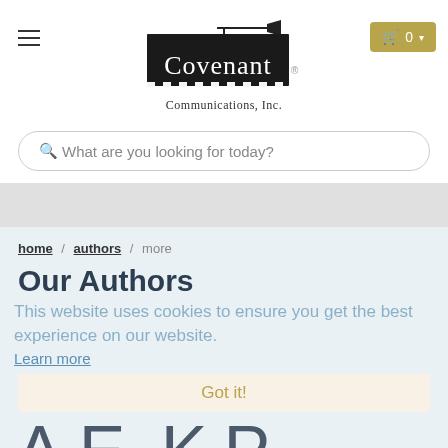Covenant Communications, Inc. — website header with navigation, logo, cart
[Figure (logo): Covenant Communications, Inc. logo with trumpet graphic and black block text on white background]
Q What are you looking for today?
home / authors / more
Our Authors
This website uses cookies to ensure you get the best experience on our website.
Learn more
Got it!
A   E,   K   P